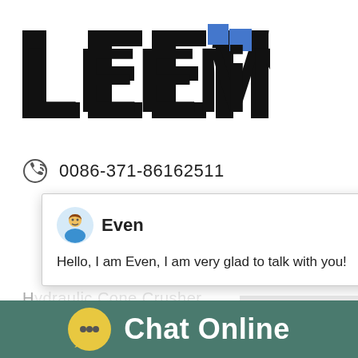[Figure (logo): LEEMIN company logo in bold black letters with a blue square accent above the letter i]
0086-371-86162511
[Figure (screenshot): Live chat popup showing avatar of 'Even' with message: Hello, I am Even, I am very glad to talk with you!]
HJ Jaw Crusher
CS Series Cone Crusher
European Impact Crusher
[Figure (photo): Industrial crusher machine on the right side, partially visible]
[Figure (infographic): Bottom teal bar with chat bubble icon and 'Chat Online' text in white]